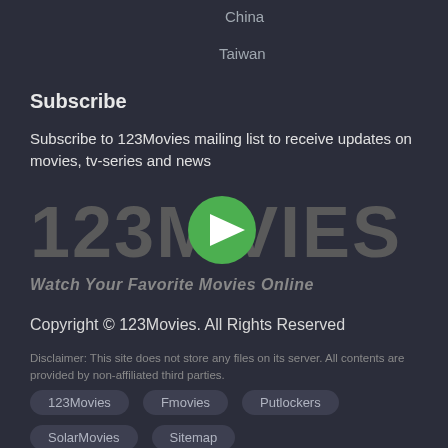China
Taiwan
Subscribe
Subscribe to 123Movies mailing list to receive updates on movies, tv-series and news
[Figure (logo): 123Movies logo with green play button circle in place of letter O, text reads '123MOVIES' in dark grey 3D-style letters, below reads 'Watch Your Favorite Movies Online']
Copyright © 123Movies. All Rights Reserved
Disclaimer: This site does not store any files on its server. All contents are provided by non-affiliated third parties.
123Movies
Fmovies
Putlockers
SolarMovies
Sitemap